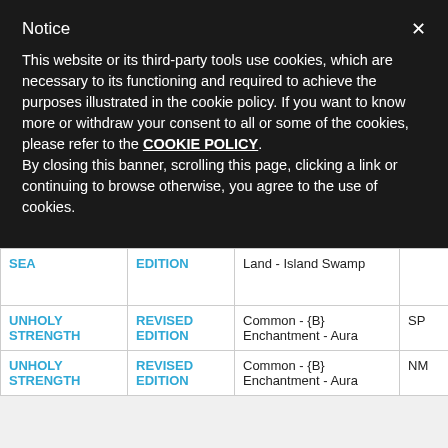Notice
This website or its third-party tools use cookies, which are necessary to its functioning and required to achieve the purposes illustrated in the cookie policy. If you want to know more or withdraw your consent to all or some of the cookies, please refer to the COOKIE POLICY. By closing this banner, scrolling this page, clicking a link or continuing to browse otherwise, you agree to the use of cookies.
| Name | Edition | Type | Cond. |
| --- | --- | --- | --- |
| SEA | EDITION | Land - Island Swamp |  |
| UNHOLY STRENGTH | REVISED EDITION | Common - {B} Enchantment - Aura | SP |
| UNHOLY STRENGTH | REVISED EDITION | Common - {B} Enchantment - Aura | NM |